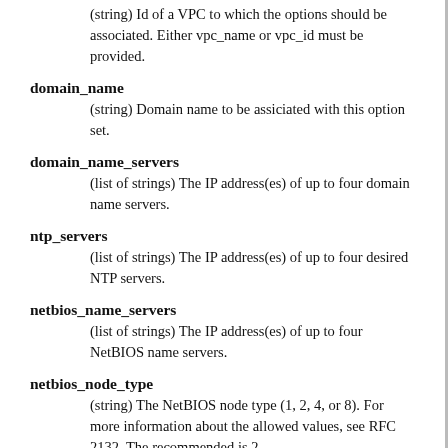(string) Id of a VPC to which the options should be associated. Either vpc_name or vpc_id must be provided.
domain_name
(string) Domain name to be assiciated with this option set.
domain_name_servers
(list of strings) The IP address(es) of up to four domain name servers.
ntp_servers
(list of strings) The IP address(es) of up to four desired NTP servers.
netbios_name_servers
(list of strings) The IP address(es) of up to four NetBIOS name servers.
netbios_node_type
(string) The NetBIOS node type (1, 2, 4, or 8). For more information about the allowed values, see RFC 2132. The recommended is 2